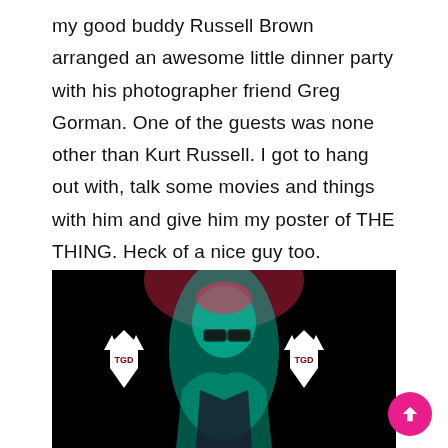my good buddy Russell Brown arranged an awesome little dinner party with his photographer friend Greg Gorman. One of the guests was none other than Kurt Russell. I got to hang out with, talk some movies and things with him and give him my poster of THE THING. Heck of a nice guy too. Certainly a high point of 2013.
[Figure (photo): Dark photograph of a man with glasses and short blonde hair, lit with teal/green light, against a black background. Two white wolf-head logos with 'TGD' text are visible on either side of the person.]
[Figure (other): Pink circular scroll-to-top button with upward arrow in bottom right corner]